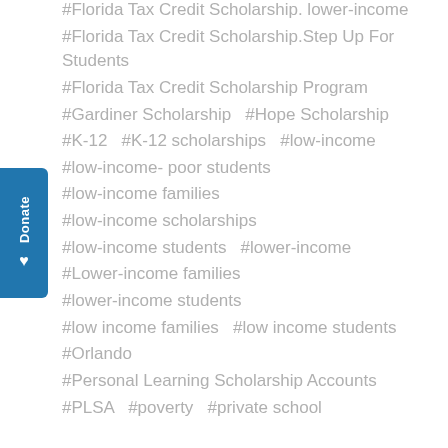#Florida Tax Credit Scholarship. lower-income
#Florida Tax Credit Scholarship.Step Up For Students
#Florida Tax Credit Scholarship Program
#Gardiner Scholarship  #Hope Scholarship
#K-12  #K-12 scholarships  #low-income
#low-income- poor students
#low-income families
#low-income scholarships
#low-income students  #lower-income
#Lower-income families
#lower-income students
#low income families  #low income students
#Orlando
#Personal Learning Scholarship Accounts
#PLSA  #poverty  #private school